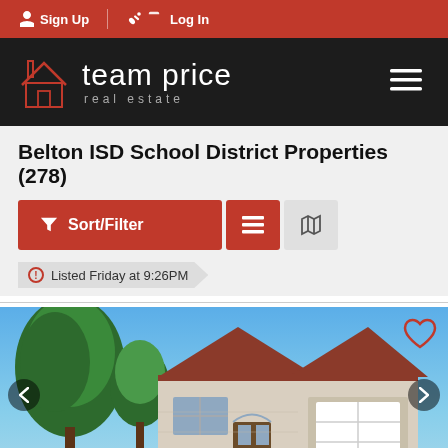Sign Up | Log In
[Figure (logo): Team Price Real Estate logo — house icon outline in red on black background with text 'team price real estate']
Belton ISD School District Properties (278)
Sort/Filter | list view | map view buttons
Listed Friday at 9:26PM
[Figure (photo): Exterior photo of a single-story brick and stone house with two trees in front, blue sky background, with previous/next navigation arrows and heart/favorite icon]